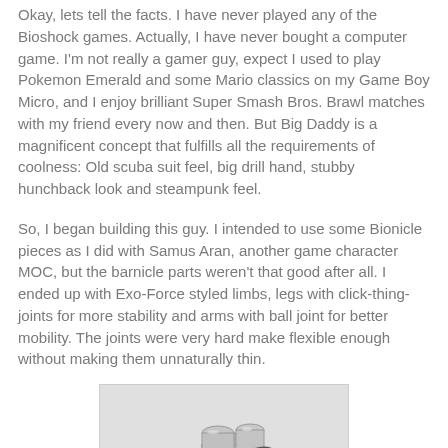Okay, lets tell the facts. I have never played any of the Bioshock games. Actually, I have never bought a computer game. I'm not really a gamer guy, expect I used to play Pokemon Emerald and some Mario classics on my Game Boy Micro, and I enjoy brilliant Super Smash Bros. Brawl matches with my friend every now and then. But Big Daddy is a magnificent concept that fulfills all the requirements of coolness: Old scuba suit feel, big drill hand, stubby hunchback look and steampunk feel.
So, I began building this guy. I intended to use some Bionicle pieces as I did with Samus Aran, another game character MOC, but the barnicle parts weren't that good after all. I ended up with Exo-Force styled limbs, legs with click-thing-joints for more stability and arms with ball joint for better mobility. The joints were very hard make flexible enough without making them unnaturally thin.
[Figure (photo): Grayscale photo of a LEGO/Bionicle MOC figure resembling Big Daddy from Bioshock, showing mechanical parts including cylindrical pieces and a drill-like arm, viewed from above/side angle against a light background.]